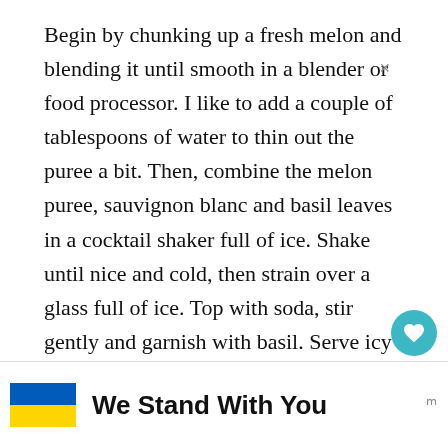Begin by chunking up a fresh melon and blending it until smooth in a blender or food processor. I like to add a couple of tablespoons of water to thin out the puree a bit. Then, combine the melon puree, sauvignon blanc and basil leaves in a cocktail shaker full of ice. Shake until nice and cold, then strain over a glass full of ice. Top with soda, stir gently and garnish with basil. Serve icy cold and enjoy!
[Figure (other): Social widget with heart/like button showing 471 likes and a share button]
[Figure (other): What's Next teaser showing a circular thumbnail of Pomegranate Mulled Wine]
[Figure (other): Advertisement banner: Ukrainian flag graphic with 'We Stand With You' text and a close button, with Mailchimp logo on the right]